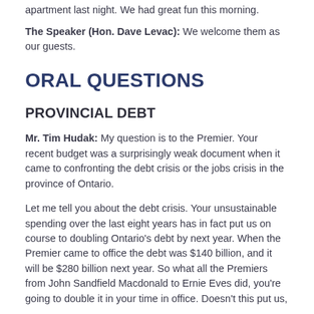apartment last night. We had great fun this morning.
The Speaker (Hon. Dave Levac): We welcome them as our guests.
ORAL QUESTIONS
PROVINCIAL DEBT
Mr. Tim Hudak: My question is to the Premier. Your recent budget was a surprisingly weak document when it came to confronting the debt crisis or the jobs crisis in the province of Ontario.
Let me tell you about the debt crisis. Your unsustainable spending over the last eight years has in fact put us on course to doubling Ontario’s debt by next year. When the Premier came to office the debt was $140 billion, and it will be $280 billion next year. So what all the Premiers from John Sandfield Macdonald to Ernie Eves did, you’re going to double it in your time in office. Doesn’t this put us,